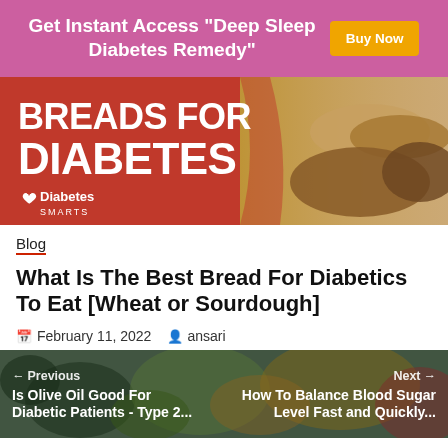[Figure (infographic): Purple ad banner with text 'Get Instant Access "Deep Sleep Diabetes Remedy"' and a gold 'Buy Now' button]
[Figure (infographic): Hero banner image showing 'BREADS FOR DIABETES' text on red background with bread photos and Diabetes Smarts logo]
Blog
What Is The Best Bread For Diabetics To Eat [Wheat or Sourdough]
February 11, 2022   ansari
[Figure (photo): Bottom navigation strip showing previous article 'Is Olive Oil Good For Diabetic Patients - Type 2' and next article 'How To Balance Blood Sugar Level Fast and Quickly' overlaid on a grocery/food market photo]